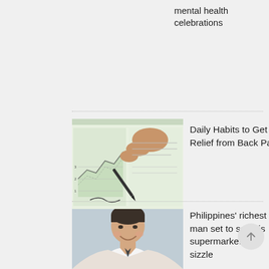mental health celebrations
[Figure (photo): A hand holding a pen writing on a financial chart/book page with green tinted financial charts visible]
Daily Habits to Get Relief from Back Pain
[Figure (photo): Portrait photo of a man smiling, appears to be a businessperson or executive]
Philippines' richest man set to see his supermarket IPO sizzle